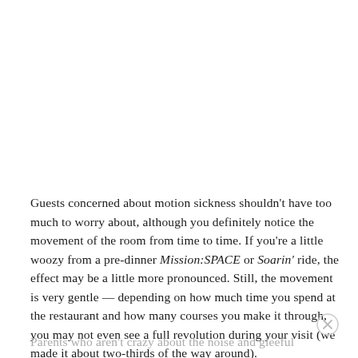Guests concerned about motion sickness shouldn't have too much to worry about, although you definitely notice the movement of the room from time to time. If you're a little woozy from a pre-dinner Mission:SPACE or Soarin' ride, the effect may be a little more pronounced. Still, the movement is very gentle — depending on how much time you spend at the restaurant and how many courses you make it through, you may not even see a full revolution during your visit (we made it about two-thirds of the way around).
Parents who aren't crazy about the noise and gleeful